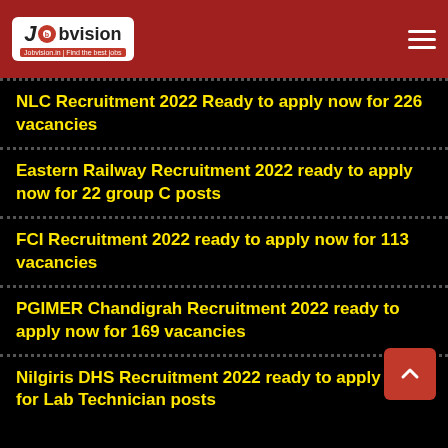Jobvision | Find the best jobs
NLC Recruitment 2022 Ready to apply now for 226 vacancies
Eastern Railway Recruitment 2022 ready to apply now for 22 group C posts
FCI Recruitment 2022 ready to apply now for 113 vacancies
PGIMER Chandigrah Recruitment 2022 ready to apply now for 169 vacancies
Nilgiris DHS Recruitment 2022 ready to apply now for Lab Technician posts